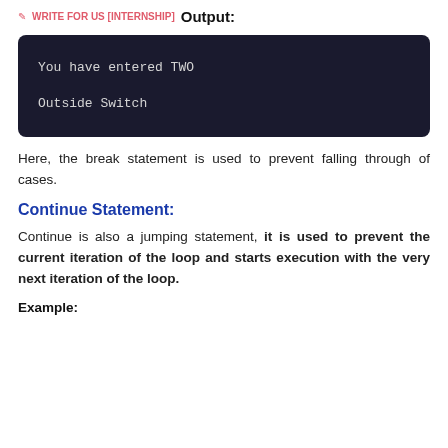✎ WRITE FOR US [INTERNSHIP]  Output:
[Figure (screenshot): Dark terminal/code output box showing two lines: 'You have entered TWO' and 'Outside Switch' on a dark navy background with monospace font.]
Here, the break statement is used to prevent falling through of cases.
Continue Statement:
Continue is also a jumping statement, it is used to prevent the current iteration of the loop and starts execution with the very next iteration of the loop.
Example: